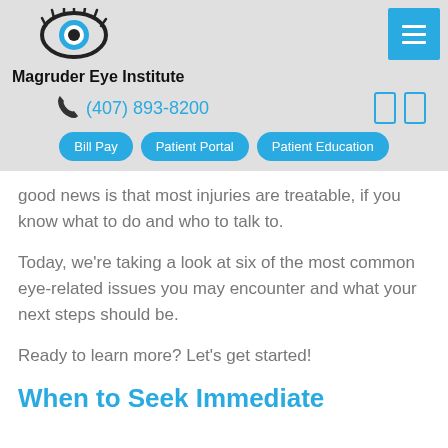[Figure (logo): Magruder Eye Institute logo — eye icon with blue and white design]
Magruder Eye Institute
(407) 893-8200
good news is that most injuries are treatable, if you know what to do and who to talk to.
Today, we're taking a look at six of the most common eye-related issues you may encounter and what your next steps should be.
Ready to learn more? Let's get started!
When to Seek Immediate